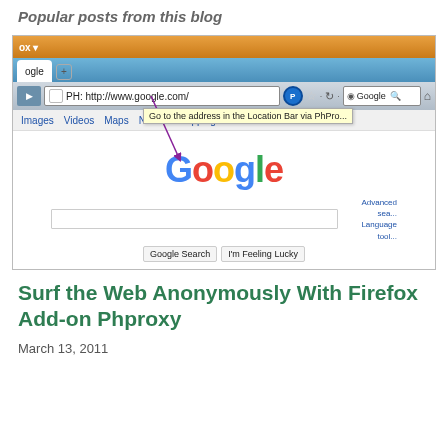Popular posts from this blog
[Figure (screenshot): Firefox browser screenshot showing Google.com loaded via PhProxy Firefox add-on. Address bar shows 'PH: http://www.google.com/' with a PhProxy icon and tooltip 'Go to the address in the Location Bar via PhPro...'. A purple arrow points from the tooltip to the Google logo. The page shows the Google homepage with search box, Google Search and I'm Feeling Lucky buttons.]
Surf the Web Anonymously With Firefox Add-on Phproxy
March 13, 2011